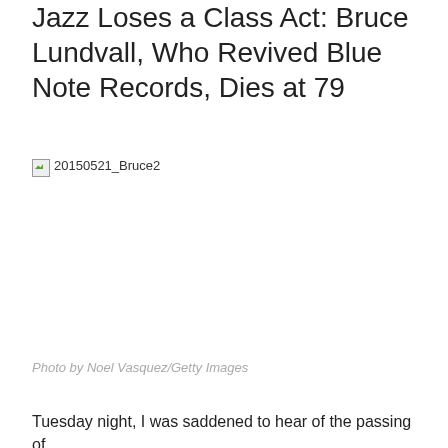Jazz Loses a Class Act: Bruce Lundvall, Who Revived Blue Note Records, Dies at 79
[Figure (photo): Broken image placeholder labeled '20150521_Bruce2']
Photo by Noel Vasquez/Getty Images
Tuesday night, I was saddened to hear of the passing of